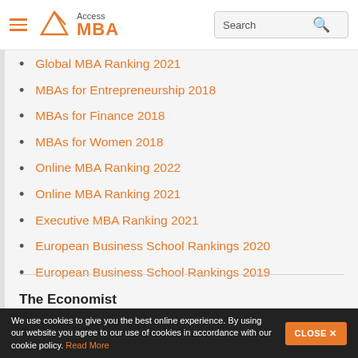Access MBA — navigation header with search
Global MBA Ranking 2021
MBAs for Entrepreneurship 2018
MBAs for Finance 2018
MBAs for Women 2018
Online MBA Ranking 2022
Online MBA Ranking 2021
Executive MBA Ranking 2021
European Business School Rankings 2020
European Business School Rankings 2019
The Economist
Explore rankings from The Economist's Economic Intelligence Unit:
We use cookies to give you the best online experience. By using our website you agree to our use of cookies in accordance with our cookie policy. Read More